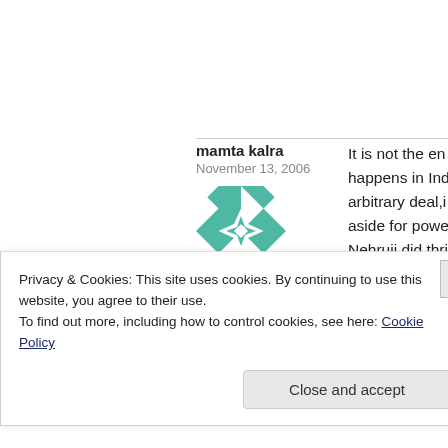mamta kalra
November 13, 2006
[Figure (illustration): Teal and white geometric quilt-pattern avatar square]
It is not the en happens in Indi arbitrary deal,i aside for power Nehruji did thri was the first on symbolically ca 1989.The crimes struggle ,or Ma .or Anti Sikh rio
Privacy & Cookies: This site uses cookies. By continuing to use this website, you agree to their use.
To find out more, including how to control cookies, see here: Cookie Policy
Close and accept